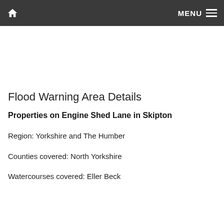Home | MENU
Flood Warning Area Details
Properties on Engine Shed Lane in Skipton
Region: Yorkshire and The Humber
Counties covered: North Yorkshire
Watercourses covered: Eller Beck